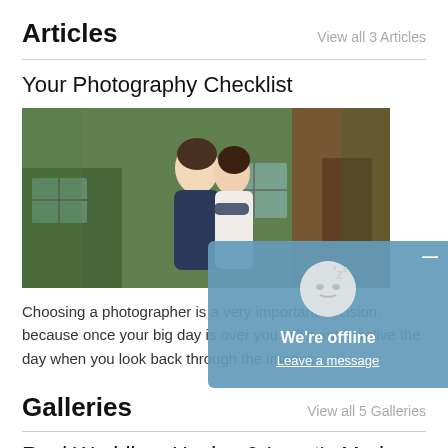Articles
View all 3 Articles
Your Photography Checklist
[Figure (photo): A couple in wedding attire embracing in front of a rustic wooden building with green-painted windows. The groom wears a navy suit and the bride wears a white dress.]
Choosing a photographer is a very important decision, because once your big day is over you will want to relive the day when you look back through the images.
Galleries
View all 5 Galleries
Real Wedding: Hayley & Ismet's Modern Countr...
We're offline
Leave a message